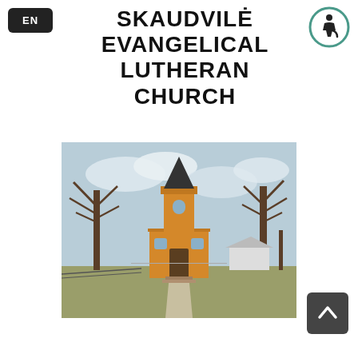EN
SKAUDVILĖ EVANGELICAL LUTHERAN CHURCH
[Figure (photo): Photograph of Skaudvilė Evangelical Lutheran Church — a yellow wooden church building with a square bell tower topped by a dark spire, flanked by bare winter trees, with a paved path leading to the entrance, under a partly cloudy sky.]
— (divider line) —